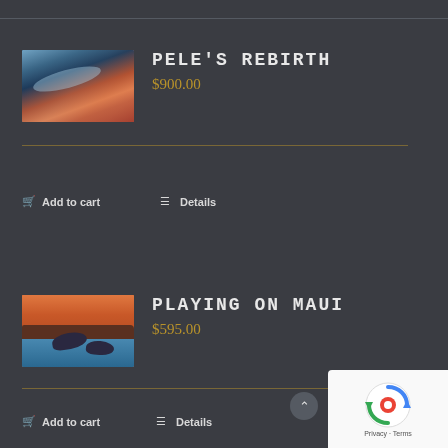[Figure (photo): Thumbnail image of Pele's Rebirth artwork showing ocean/lava scene with blue and orange tones]
PELE'S REBIRTH
$900.00
Add to cart
Details
[Figure (photo): Thumbnail image of Playing on Maui artwork showing humpback whales near Maui island with orange sky and blue water]
PLAYING ON MAUI
$595.00
Add to cart
Details
[Figure (other): reCAPTCHA widget overlay in bottom right corner showing reCAPTCHA logo and Privacy - Terms text]